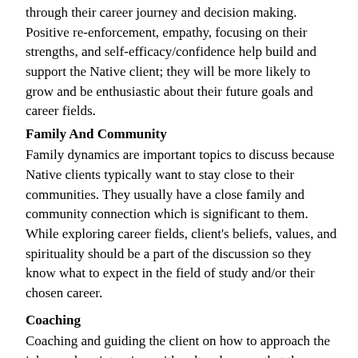through their career journey and decision making. Positive re-enforcement, empathy, focusing on their strengths, and self-efficacy/confidence help build and support the Native client; they will be more likely to grow and be enthusiastic about their future goals and career fields.
Family And Community
Family dynamics are important topics to discuss because Native clients typically want to stay close to their communities. They usually have a close family and community connection which is significant to them. While exploring career fields, client's beliefs, values, and spirituality should be a part of the discussion so they know what to expect in the field of study and/or their chosen career.
Coaching
Coaching and guiding the client on how to approach the job search or interview with cultural norms that the recruiters/employers may not understand (i.e., hair, dress, and traditions) is crucial to the client continuing on in their career field. Most Native clients have a goal to return to their home community after they complete their degree; therefore,